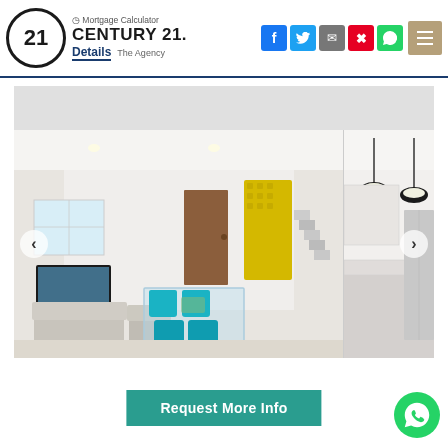Century 21 The Agency — Mortgage Calculator | Details
[Figure (photo): Interior photo of a modern home showing a dining area with teal/turquoise chairs around a glass table, white walls, yellow decorative screen divider, staircase, and a living area with grey sofas and TV wall; a second panel shows a kitchen counter with pendant lights.]
Request More Info